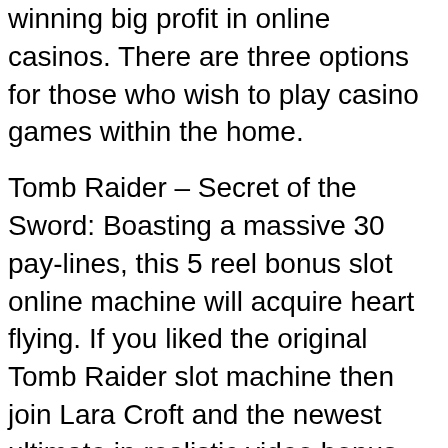winning big profit in online casinos. There are three options for those who wish to play casino games within the home.
Tomb Raider – Secret of the Sword: Boasting a massive 30 pay-lines, this 5 reel bonus slot online machine will acquire heart flying. If you liked the original Tomb Raider slot machine then join Lara Croft and the newest ultimate in realistic video bonus slot play. Offering free spins with hold feature, pick a prize bonus round, random shoot en up wilds and multi screen bonus features. This is a Microgaming new breed bonus slot.
Another involving slot machine is the multiple pay line . Most slot machines only pay out when the symbols have the center line. SLOTXO take care of on many excellent lines. These treadmills are very